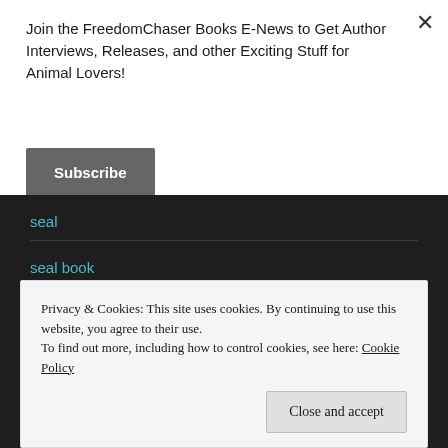Join the FreedomChaser Books E-News to Get Author Interviews, Releases, and other Exciting Stuff for Animal Lovers!
Subscribe
seal
seal book
Second Chance Farm
Privacy & Cookies: This site uses cookies. By continuing to use this website, you agree to their use.
To find out more, including how to control cookies, see here: Cookie Policy
Close and accept